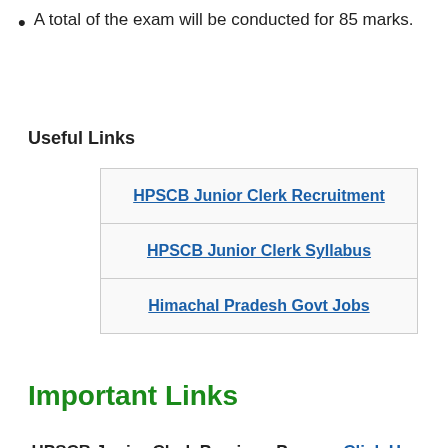A total of the exam will be conducted for 85 marks.
Useful Links
| HPSCB Junior Clerk Recruitment |
| HPSCB Junior Clerk Syllabus |
| Himachal Pradesh Govt Jobs |
Important Links
HPSCB Junior Clerk Previous Papers: Click Here
HP State Cooperative Bank Junior Clerk